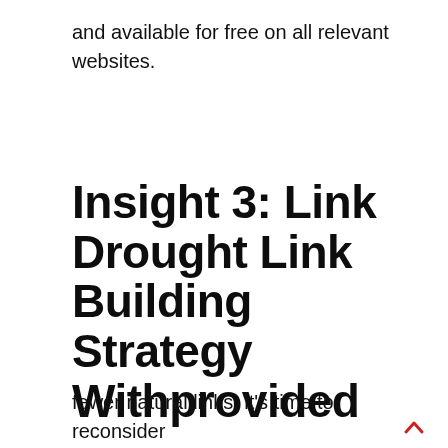and available for free on all relevant websites.
Insight 3: Link Drought Link Building Strategy Withprovided
fewer natural links, it's time to reconsider